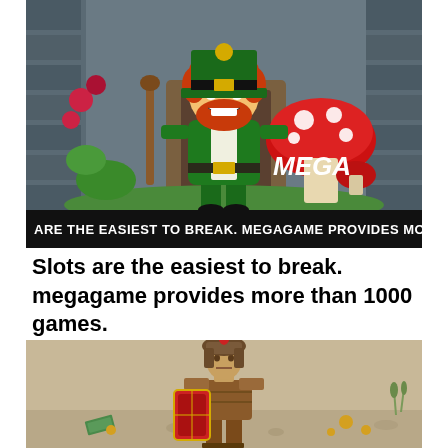[Figure (illustration): Cartoon leprechaun character in green hat and outfit holding a stick, standing next to a large red mushroom with white spots. Background shows grey castle/dungeon walls and green plants. 'MEGA' text visible in white on the right side.]
ARE THE EASIEST TO BREAK. MEGAGAME PROVIDES MORE THAN 1000 G
Slots are the easiest to break. megagame provides more than 1000 games.
[Figure (illustration): Cartoon Roman soldier/gladiator in brown armor holding a red shield, standing in a sandy arena with scattered coins and dollar bills on the ground.]